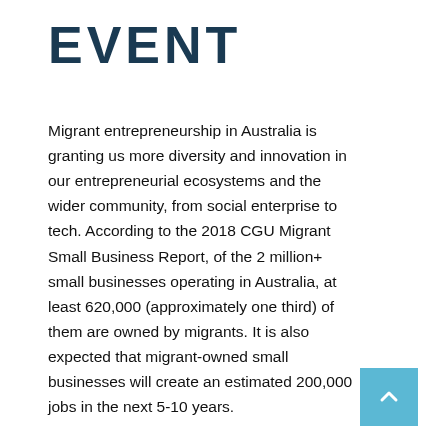EVENT
Migrant entrepreneurship in Australia is granting us more diversity and innovation in our entrepreneurial ecosystems and the wider community, from social enterprise to tech. According to the 2018 CGU Migrant Small Business Report, of the 2 million+ small businesses operating in Australia, at least 620,000 (approximately one third) of them are owned by migrants. It is also expected that migrant-owned small businesses will create an estimated 200,000 jobs in the next 5-10 years.